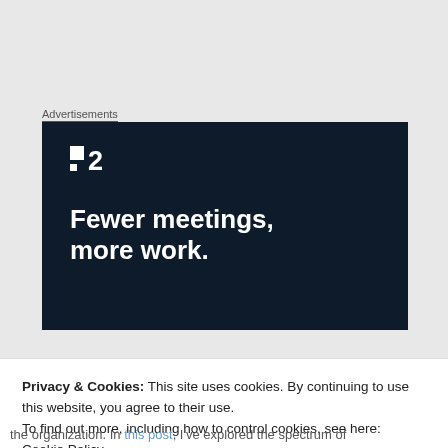Advertisements
[Figure (illustration): Dark navy blue advertisement banner for 'F2' product/service. Shows the F2 logo (two squares and number 2) in white at top left, with large bold white text reading 'Fewer meetings, more work.' on two lines.]
Privacy & Cookies: This site uses cookies. By continuing to use this website, you agree to their use.
To find out more, including how to control cookies, see here: Cookie Policy
Close and accept
the organization. In this post, I've explored the spectrum of